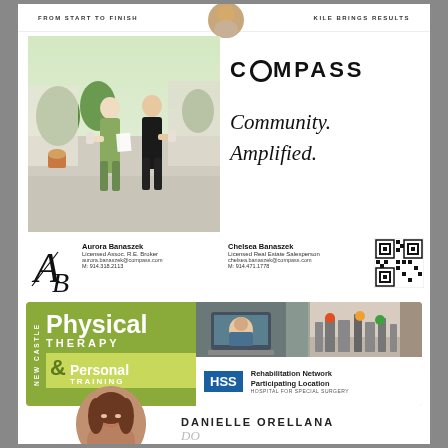FROM START TO FINISH | KILE BRINGS RESULTS
[Figure (photo): Two women walking on a street holding coffee cups, outdoor urban setting with greenery]
[Figure (logo): COMPASS logo with stylized O]
Community. Amplified.
[Figure (logo): AB monogram logo for Aurora and Chelsea Banaszek]
Aurora Banaszek
Licensed Assoc. R.E. Broker
aurora.banaszek@compass.com
M: 914.318.2113
Chelsea Banaszek
Licensed Real Estate Salesperson
chelsea.banaszek@compass.com
M: 914.471.1778
[Figure (other): QR code for Banaszek team]
[Figure (infographic): New Castle Physical Therapy & Personal Training advertisement with HSS Rehabilitation Network Participating Location badge]
[Figure (photo): Danielle Orellana headshot, woman with dark hair smiling]
DANIELLE ORELLANA
Real Estate Salesperson